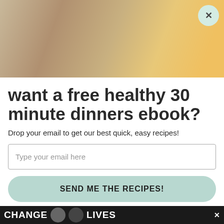[Figure (photo): Food photo background showing cooked potatoes and dishes, partially visible behind modal overlay]
want a free healthy 30 minute dinners ebook?
Drop your email to get our best quick, easy recipes!
Type your email here
SEND ME THE RECIPES!
| Nutrient | Amount | % DV |
| --- | --- | --- |
| Cholesterol | 327mg | 109% |
| Sodium | 582mg | 25% |
[Figure (photo): Bottom advertisement banner with text CHANGE LIVES and cat images on dark background]